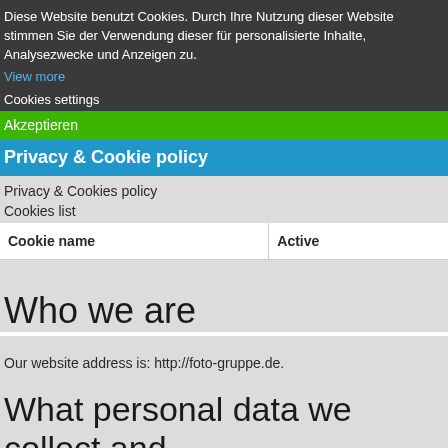Diese Website benutzt Cookies. Durch Ihre Nutzung dieser Website stimmen Sie der Verwendung dieser für personalisierte Inhalte, Analysezwecke und Anzeigen zu.
View more
Cookies settings
Akzeptieren
Privacy & Cookie policy
Privacy & Cookies policy
Cookies list
| Cookie name | Active |
| --- | --- |
Who we are
Our website address is: http://foto-gruppe.de.
What personal data we collect and